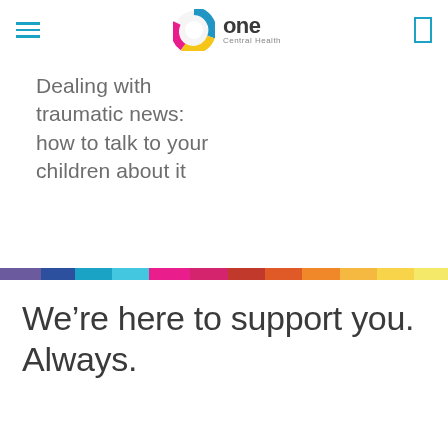one Central Health
Dealing with traumatic news: how to talk to your children about it
[Figure (infographic): Multicolor horizontal bar spanning full page width, with segments in purple, dark blue, cyan/light blue, pink/magenta, dark pink, orange-red, orange, light orange, yellow, and pale yellow]
We’re here to support you. Always.